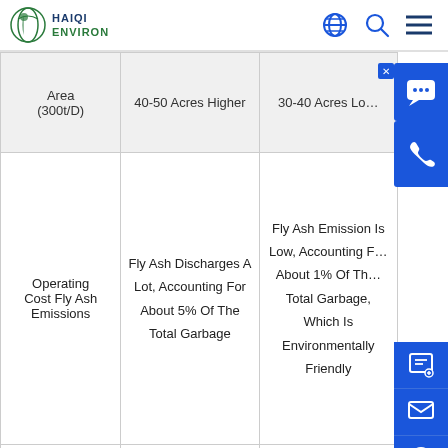HAIQI ENVIRON — navigation header with logo and icons
|  | Col1 | Col2 |
| --- | --- | --- |
| Area (300t/D) | 40-50 Acres Higher | 30-40 Acres Lo[wer] |
| Operating Cost Fly Ash Emissions | Fly Ash Discharges A Lot, Accounting For About 5% Of The Total Garbage | Fly Ash Emission Is Low, Accounting For About 1% Of The Total Garbage, Which Is Environmentally Friendly |
|  |  |  |